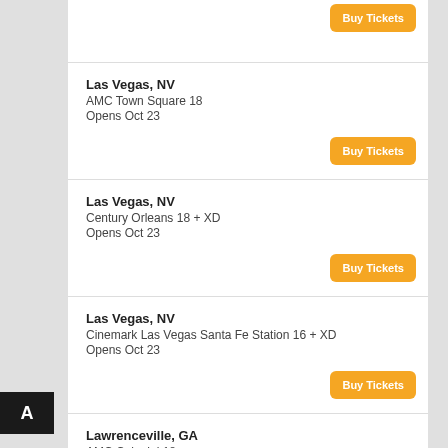Buy Tickets
Las Vegas, NV
AMC Town Square 18
Opens Oct 23
Buy Tickets
Las Vegas, NV
Century Orleans 18 + XD
Opens Oct 23
Buy Tickets
Las Vegas, NV
Cinemark Las Vegas Santa Fe Station 16 + XD
Opens Oct 23
Buy Tickets
Lawrenceville, GA
AMC Colonial 18
Opens Oct 23